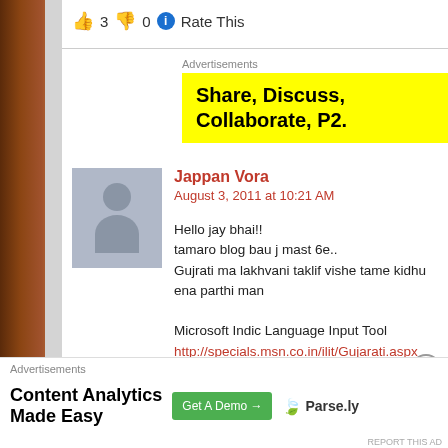👍 3 👎 0 ℹ Rate This
[Figure (screenshot): Yellow advertisement banner with bold text: Share, Discuss, Collaborate, P2.]
Advertisements
Jappan Vora
August 3, 2011 at 10:21 AM
Hello jay bhai!!
tamaro blog bau j mast 6e..
Gujrati ma lakhvani taklif vishe tame kidhu ena parthi man

Microsoft Indic Language Input Tool
http://specials.msn.co.in/ilit/Gujarati.aspx

AA link par thi e install kari lo etle typing English man ane l

Cheak it out..

And thank you once again for wonderful experience o
Advertisements
[Figure (screenshot): Content Analytics Made Easy advertisement with Get A Demo button and Parse.ly logo]